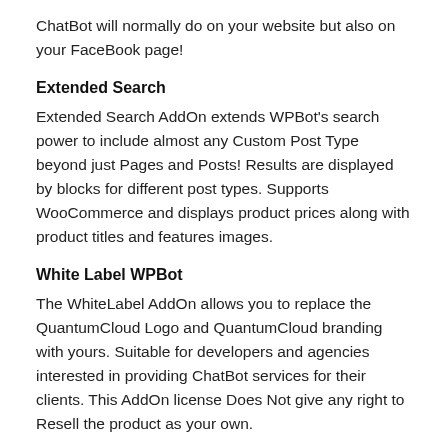ChatBot will normally do on your website but also on your FaceBook page!
Extended Search
Extended Search AddOn extends WPBot's search power to include almost any Custom Post Type beyond just Pages and Posts! Results are displayed by blocks for different post types. Supports WooCommerce and displays product prices along with product titles and features images.
White Label WPBot
The WhiteLabel AddOn allows you to replace the QuantumCloud Logo and QuantumCloud branding with yours. Suitable for developers and agencies interested in providing ChatBot services for their clients. This AddOn license Does Not give any right to Resell the product as your own.